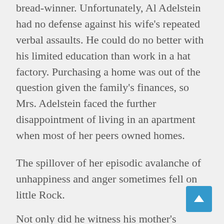bread-winner. Unfortunately, Al Adelstein had no defense against his wife's repeated verbal assaults. He could do no better with his limited education than work in a hat factory. Purchasing a home was out of the question given the family's finances, so Mrs. Adelstein faced the further disappointment of living in an apartment when most of her peers owned homes.
The spillover of her episodic avalanche of unhappiness and anger sometimes fell on little Rock.
Not only did he witness his mother's tirades at dad, but he discovered she had enough discontent left over to criticize and disapprove of him. Cruel pranks were not out of the question either, as on